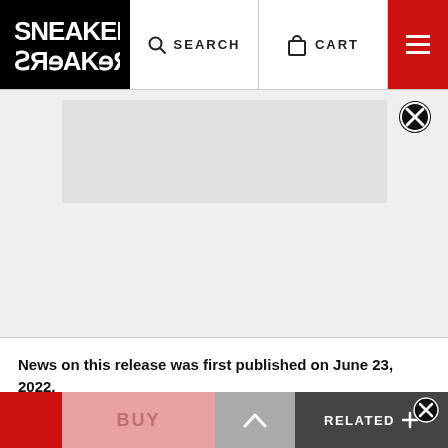SNEAKER FREAKER — SEARCH | CART | Menu
[Figure (screenshot): Advertisement or image placeholder area, light grey background]
News on this release was first published on June 23, 2022.
Update July 18, 2022: After surfacing earlier last month, a release date has now arrived for the women's Air Jordan 1 'Twist 2.0'! You can expect them to land...